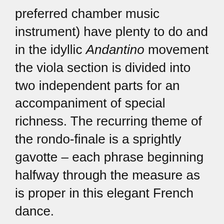preferred chamber music instrument) have plenty to do and in the idyllic Andantino movement the viola section is divided into two independent parts for an accompaniment of special richness. The recurring theme of the rondo-finale is a sprightly gavotte – each phrase beginning halfway through the measure as is proper in this elegant French dance.
Yvonne Frindle © 2019
First Performance: presumably a private performance given by the Duc de Guînes
First SLSO Performance: March 12, 1943, Vladimir Golschmann